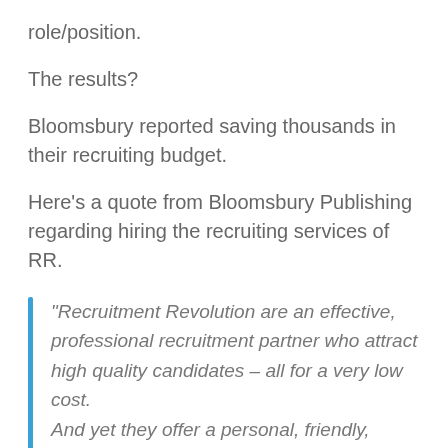role/position.
The results?
Bloomsbury reported saving thousands in their recruiting budget.
Here’s a quote from Bloomsbury Publishing regarding hiring the recruiting services of RR.
“Recruitment Revolution are an effective, professional recruitment partner who attract high quality candidates – all for a very low cost. And yet they offer a personal, friendly, individual working relationship.”